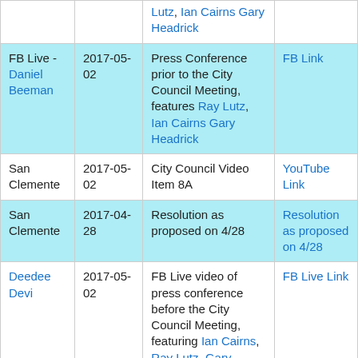| Source | Date | Description | Link |
| --- | --- | --- | --- |
|  |  | Lutz, Ian Cairns Gary Headrick |  |
| FB Live - Daniel Beeman | 2017-05-02 | Press Conference prior to the City Council Meeting, features Ray Lutz, Ian Cairns Gary Headrick | FB Link |
| San Clemente | 2017-05-02 | City Council Video Item 8A | YouTube Link |
| San Clemente | 2017-04-28 | Resolution as proposed on 4/28 | Resolution as proposed on 4/28 |
| Deedee Devi | 2017-05-02 | FB Live video of press conference before the City Council Meeting, featuring Ian Cairns, Ray Lutz, Gary Headrick | FB Live Link |